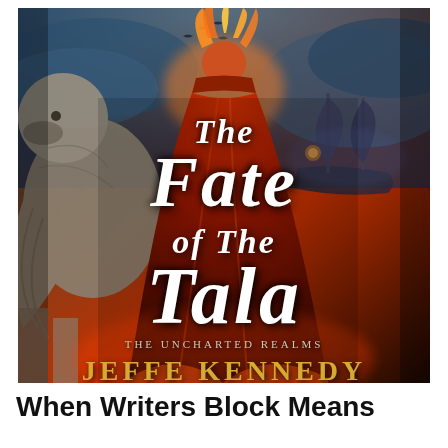[Figure (illustration): Book cover for 'The Fate of the Tala' by Jeffe Kennedy, part of The Uncharted Realms series. A dramatic fantasy cover featuring a woman in a flowing red dress with fiery hair standing with her back to viewer, flanked by a stone griffin on the left and a sailing ship in stormy skies on the right. The title text is in large white serif italic font, the series name in small caps, and the author name in gold letters at the bottom.]
When Writers Block Means